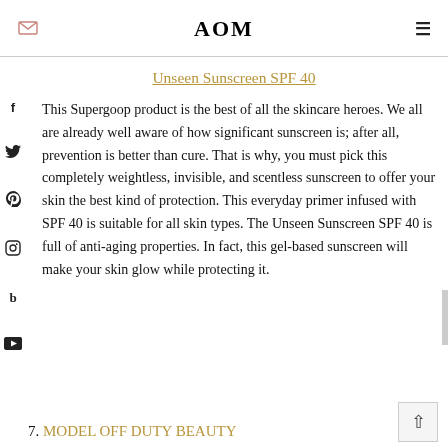AOM
Unseen Sunscreen SPF 40
This Supergoop product is the best of all the skincare heroes. We all are already well aware of how significant sunscreen is; after all, prevention is better than cure. That is why, you must pick this completely weightless, invisible, and scentless sunscreen to offer your skin the best kind of protection. This everyday primer infused with SPF 40 is suitable for all skin types. The Unseen Sunscreen SPF 40 is full of anti-aging properties. In fact, this gel-based sunscreen will make your skin glow while protecting it.
7. MODEL OFF DUTY BEAUTY